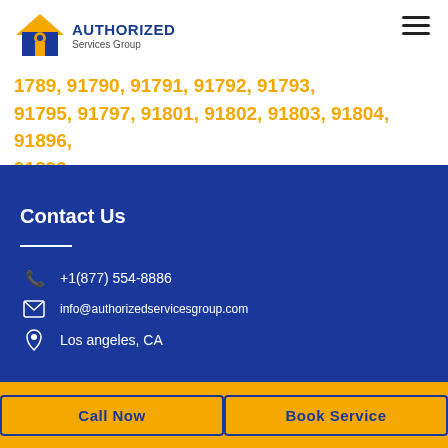Authorized Services Group
1789, 91790, 91791, 91792, 91793, 91795, 91797, 91801, 91802, 91803, 91804, 91896, 91899
Contact Us
+1(877) 554-8886
info@authorizedservicesgroup.com
Los angeles, CA